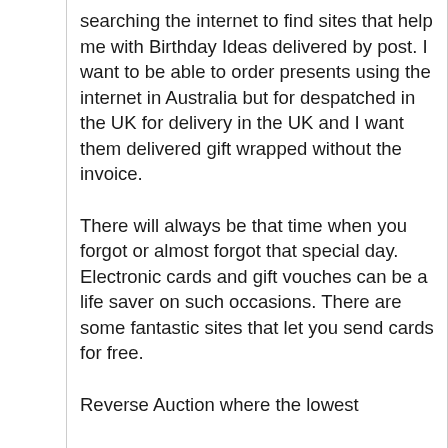searching the internet to find sites that help me with Birthday Ideas delivered by post. I want to be able to order presents using the internet in Australia but for despatched in the UK for delivery in the UK and I want them delivered gift wrapped without the invoice.
There will always be that time when you forgot or almost forgot that special day. Electronic cards and gift vouches can be a life saver on such occasions. There are some fantastic sites that let you send cards for free.
Reverse Auction where the lowest